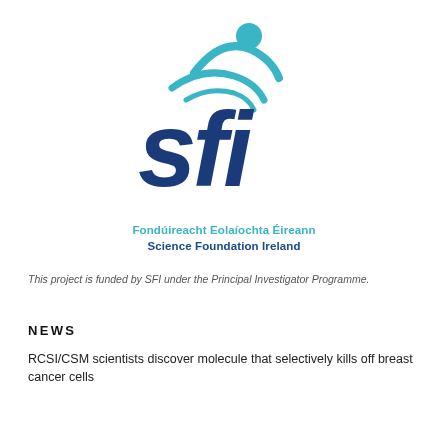[Figure (logo): Science Foundation Ireland (SFI) logo: a teal human figure with arms raised and wave lines, above large dark blue lowercase letters 'sfi']
Fondúireacht Eolaíochta Éireann
Science Foundation Ireland
This project is funded by SFI under the Principal Investigator Programme.
NEWS
RCSI/CSM scientists discover molecule that selectively kills off breast cancer cells